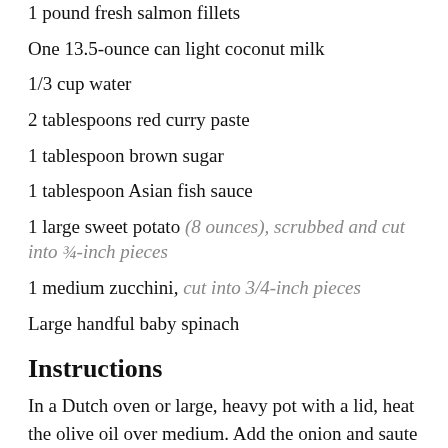1 pound fresh salmon fillets
One 13.5-ounce can light coconut milk
1/3 cup water
2 tablespoons red curry paste
1 tablespoon brown sugar
1 tablespoon Asian fish sauce
1 large sweet potato (8 ounces), scrubbed and cut into ¾-inch pieces
1 medium zucchini, cut into 3/4-inch pieces
Large handful baby spinach
Instructions
In a Dutch oven or large, heavy pot with a lid, heat the olive oil over medium. Add the onion and saute until tender and translucent, about 4 minutes.
While the onions cook, pull any tiny bones from the